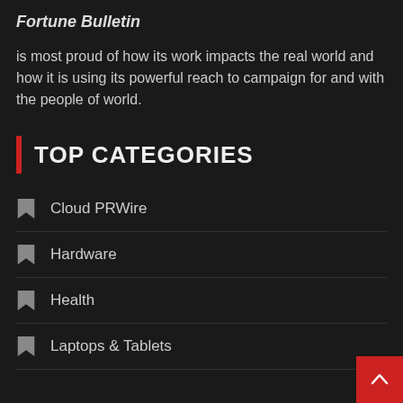Fortune Bulletin
is most proud of how its work impacts the real world and how it is using its powerful reach to campaign for and with the people of world.
TOP CATEGORIES
Cloud PRWire
Hardware
Health
Laptops & Tablets